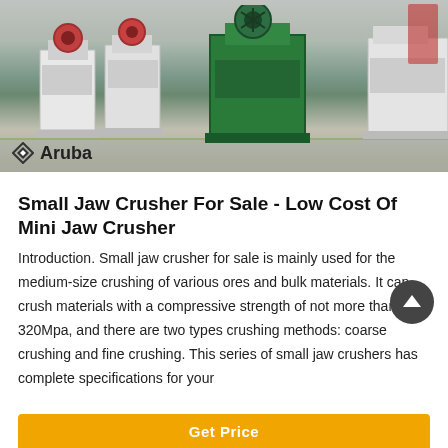[Figure (photo): Industrial jaw crushers in a factory/warehouse setting. Multiple large white and green crushing machines are visible. The Aruba brand logo and name appear in the lower-left corner of the image.]
Small Jaw Crusher For Sale - Low Cost Of Mini Jaw Crusher
Introduction. Small jaw crusher for sale is mainly used for the medium-size crushing of various ores and bulk materials. It can crush materials with a compressive strength of not more than 320Mpa, and there are two types crushing methods: coarse crushing and fine crushing. This series of small jaw crushers has complete specifications for your
Get Price